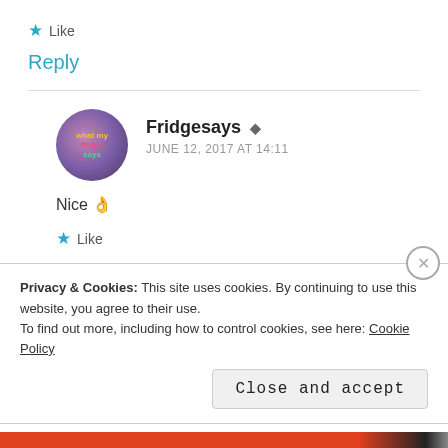★ Like
Reply
Fridgesays  JUNE 12, 2017 AT 14:11
Nice 👌
★ Like
Privacy & Cookies: This site uses cookies. By continuing to use this website, you agree to their use.
To find out more, including how to control cookies, see here: Cookie Policy
Close and accept